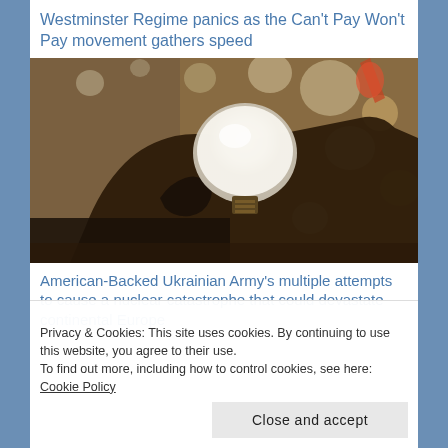Westminster Regime panics as the Can't Pay Won't Pay movement gathers speed
[Figure (photo): A silhouetted hand holding a clear light bulb against a blurry background of colorful hanging lights in a shop]
American-Backed Ukrainian Army's multiple attempts to cause a nuclear catastrophe that could devastate continental Europe
Privacy & Cookies: This site uses cookies. By continuing to use this website, you agree to their use.
To find out more, including how to control cookies, see here: Cookie Policy
Close and accept